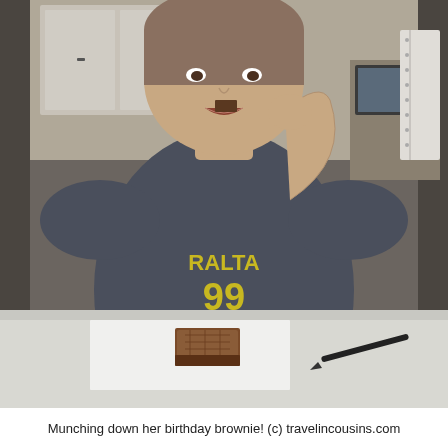[Figure (photo): A young person eating a brownie while sitting at a white table. On the table is a brownie on a paper napkin and a black pen. The person is wearing a dark gray t-shirt with yellow text reading 'RALTA 99'. A home office/dining room is visible in the background.]
Munching down her birthday brownie! (c) travelincousins.com